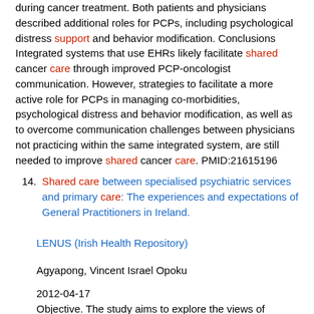during cancer treatment. Both patients and physicians described additional roles for PCPs, including psychological distress support and behavior modification. Conclusions Integrated systems that use EHRs likely facilitate shared cancer care through improved PCP-oncologist communication. However, strategies to facilitate a more active role for PCPs in managing co-morbidities, psychological distress and behavior modification, as well as to overcome communication challenges between physicians not practicing within the same integrated system, are still needed to improve shared cancer care. PMID:21615196
14. Shared care between specialised psychiatric services and primary care: The experiences and expectations of General Practitioners in Ireland.
LENUS (Irish Health Repository)
Agyapong, Vincent Israel Opoku
2012-04-17
Objective. The study aims to explore the views of General Practitioners in Ireland on shared care between specialised